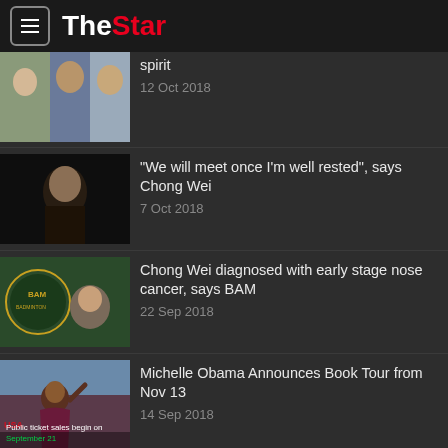The Star
[Figure (photo): Group of people thumbnail, partially visible at top]
spirit
12 Oct 2018
[Figure (photo): Dark portrait of a young Asian man]
“We will meet once I’m well rested”, says Chong Wei
7 Oct 2018
[Figure (photo): BAM badminton association logo with person eating]
Chong Wei diagnosed with early stage nose cancer, says BAM
22 Sep 2018
[Figure (photo): Michelle Obama waving, with text overlay: Public ticket sales begin on September 21]
Michelle Obama Announces Book Tour from Nov 13
14 Sep 2018
[Figure (photo): Bamboo bridge over rice field with people standing on it]
Bamboo bridge over rice field attracts visitors